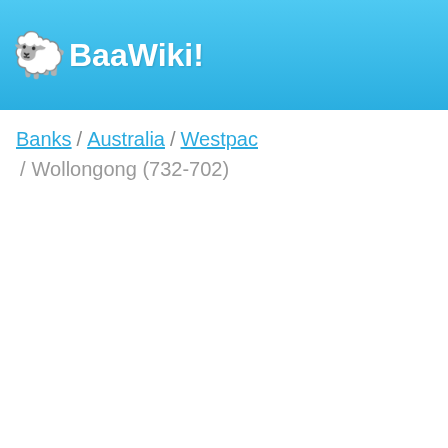BaaWiki!
Banks / Australia / Westpac / Wollongong (732-702)